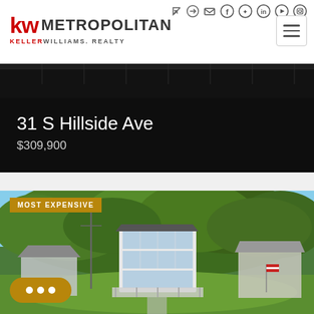[Figure (logo): KW Metropolitan Keller Williams Realty logo — red KW letters with METROPOLITAN in dark bold uppercase and KELLERWILLIAMS. REALTY subtitle]
[Figure (screenshot): Social media and navigation icons row: sign-in arrow, email envelope, Facebook, Twitter, LinkedIn, YouTube, Instagram circles; hamburger menu button]
[Figure (photo): Dark property listing banner showing address 31 S Hillside Ave and price $309,900 over a dark background]
31 S Hillside Ave
$309,900
[Figure (photo): Aerial photograph of a large multi-story house surrounded by tall green trees with neighboring houses visible, shot from above showing lawn and lake access]
MOST EXPENSIVE